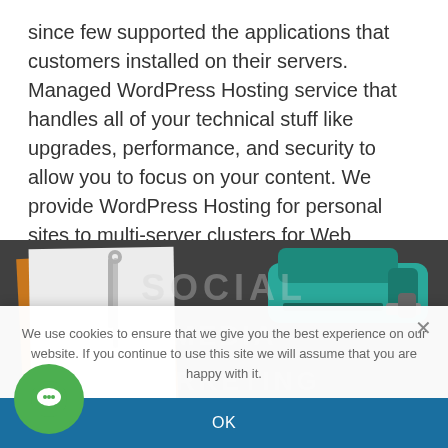since few supported the applications that customers installed on their servers. Managed WordPress Hosting service that handles all of your technical stuff like upgrades, performance, and security to allow you to focus on your content. We provide WordPress Hosting for personal sites to multi-server clusters for Web startups to global enterprises.
[Figure (photo): Photo of white papers with a binder clip on an orange folder against dark background, with a teal/green stapler in the upper right, and watermark text 'SOCIAL MEDIA MARKETING' overlaid.]
We use cookies to ensure that we give you the best experience on our website. If you continue to use this site we will assume that you are happy with it.
OK